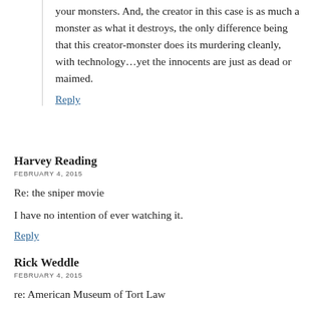your monsters. And, the creator in this case is as much a monster as what it destroys, the only difference being that this creator-monster does its murdering cleanly, with technology…yet the innocents are just as dead or maimed.
Reply
Harvey Reading
FEBRUARY 4, 2015
Re: the sniper movie
I have no intention of ever watching it.
Reply
Rick Weddle
FEBRUARY 4, 2015
re: American Museum of Tort Law